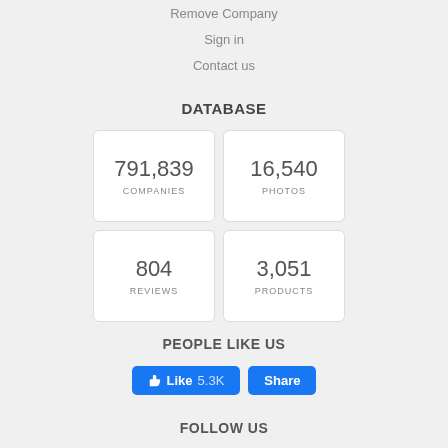Remove Company
Sign in
Contact us
DATABASE
| 791,839 | COMPANIES | 16,540 | PHOTOS |
| 804 | REVIEWS | 3,051 | PRODUCTS |
PEOPLE LIKE US
[Figure (infographic): Facebook Like button showing 5.3K likes and a Share button, both in blue]
FOLLOW US